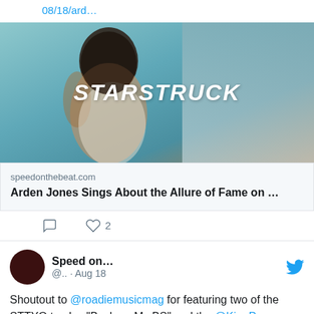08/18/ard…
[Figure (photo): Movie/music promotional image with text STARSTRUCK overlaid, showing a person looking away against a teal/warm background]
speedonthebeat.com
Arden Jones Sings About the Allure of Fame on …
2 likes
Speed on… @.. · Aug 18
Shoutout to @roadiemusicmag for featuring two of the STTYO tracks, "Back on My BS" and the @KingPegs-